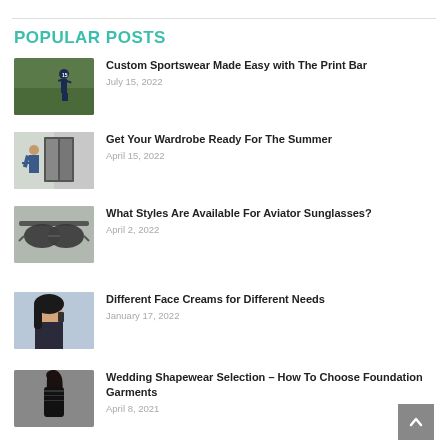POPULAR POSTS
Custom Sportswear Made Easy with The Print Bar | July 15, 2022
Get Your Wardrobe Ready For The Summer | April 15, 2022
What Styles Are Available For Aviator Sunglasses? | April 2, 2022
Different Face Creams for Different Needs | January 17, 2022
Wedding Shapewear Selection – How To Choose Foundation Garments | April 8, 2021